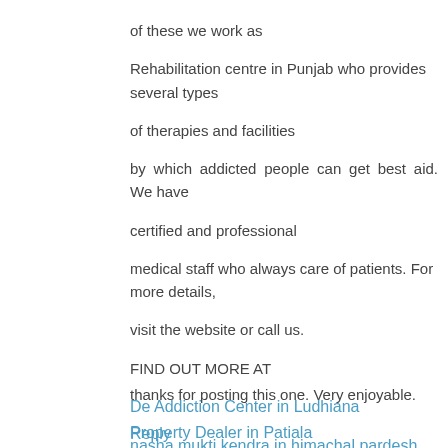of these we work as Rehabilitation centre in Punjab who provides several types of therapies and facilities by which addicted people can get best aid. We have certified and professional medical staff who always care of patients. For more details, visit the website or call us.
FIND OUT MORE AT
De Addiction Center in Ludhiana
nasha mukti kendra in himachal pardesh
Rehabilitation Center In Punjab
Nasha mukti kendra in Jammu
Nasha mukti kendra in Ludhiana
thanks for posting this one. Very enjoyable.
Property Dealer in Patiala
Reply